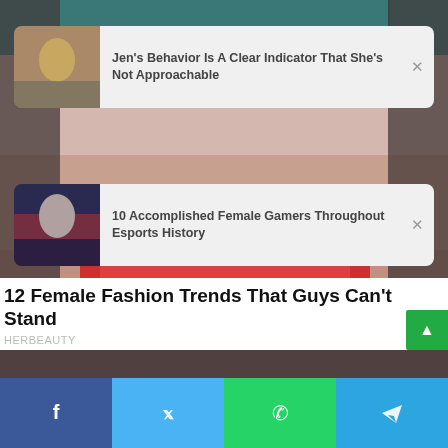[Figure (photo): Background: close-up of woman's face with red lips and teal hair at top, blurred background]
[Figure (photo): Ad card 1: Jen's Behavior Is A Clear Indicator That She's Not Approachable - thumbnail of woman with long hair]
Jen's Behavior Is A Clear Indicator That She's Not Approachable
[Figure (photo): Ad card 2: 10 Accomplished Female Gamers Throughout Esports History - thumbnail of woman with dark hair]
10 Accomplished Female Gamers Throughout Esports History
12 Female Fashion Trends That Guys Can't Stand
HERBEAUTY
[Figure (photo): Preview image strip at bottom - dark woman's hair/face partially visible]
[Figure (infographic): Social share bar with Facebook, Twitter, WhatsApp, Telegram buttons]